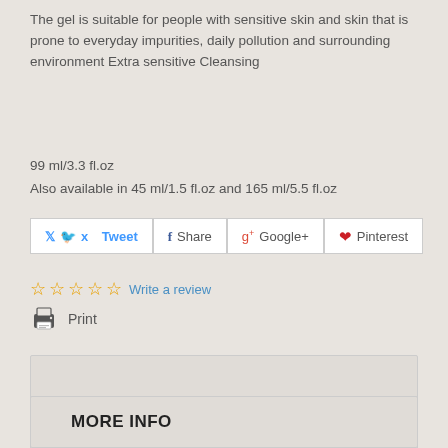The gel is suitable for people with sensitive skin and skin that is prone to everyday impurities, daily pollution and surrounding environment Extra sensitive Cleansing
99 ml/3.3 fl.oz
Also available in 45 ml/1.5 fl.oz and 165 ml/5.5 fl.oz
[Figure (other): Social sharing buttons: Tweet, Share, Google+, Pinterest]
[Figure (other): Five empty star rating icons followed by 'Write a review' link in blue, and a Print icon with 'Print' text below]
[Figure (other): Size selection panel with 'Size' label and a dropdown showing '99 ml']
MORE INFO